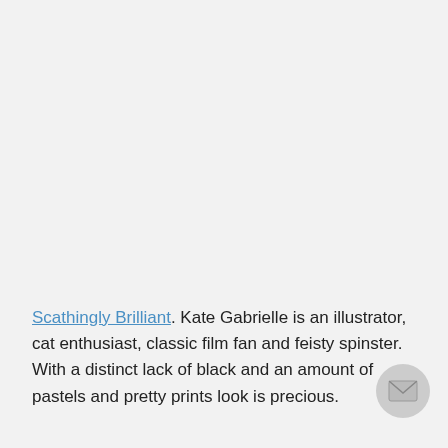Scathingly Brilliant. Kate Gabrielle is an illustrator, cat enthusiast, classic film fan and feisty spinster. With a distinct lack of black and an amount of pastels and pretty prints look is precious.